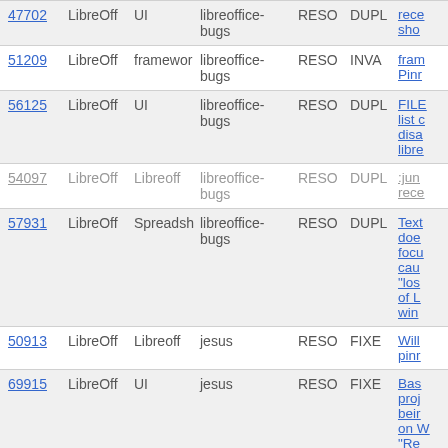| ID | Product | Component | Tag | Status | Resolution | Description |
| --- | --- | --- | --- | --- | --- | --- |
| 47702 | LibreOff | UI | libreoffice-bugs | RESO | DUPL | rece sho |
| 51209 | LibreOff | framewor | libreoffice-bugs | RESO | INVA | fram Pinr |
| 56125 | LibreOff | UI | libreoffice-bugs | RESO | DUPL | FILE list c disa libre |
| 54097 | LibreOff | Libreoff | libreoffice-bugs | RESO | DUPL | :jun rece |
| 57931 | LibreOff | Spreadsh | libreoffice-bugs | RESO | DUPL | Text doe foc cau "los of L win |
| 50913 | LibreOff | Libreoff | jesus | RESO | FIXE | Will pinr |
| 69915 | LibreOff | UI | jesus | RESO | FIXE | Bas proj beir on V "Re listir sho |